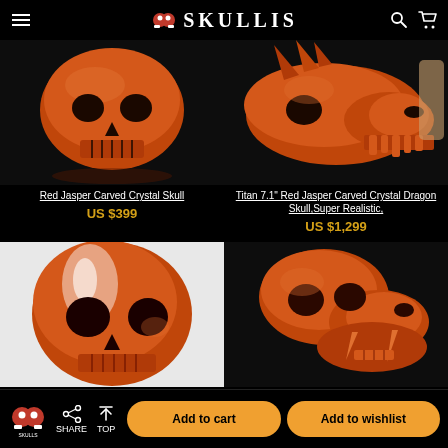SKULLIS
[Figure (photo): Red Jasper carved crystal skull sculpture on dark background]
Red Jasper Carved Crystal Skull
US $399
[Figure (photo): Titan 7.1 inch Red Jasper carved crystal dragon skull, super realistic, on dark background]
Titan 7.1" Red Jasper Carved Crystal Dragon Skull,Super Realistic,
US $1,299
[Figure (photo): Red Jasper carved crystal skull viewed from front-side angle on white background]
[Figure (photo): Red carved crystal animal skull sculpture on dark background]
SHARE  TOP  Add to cart  Add to wishlist